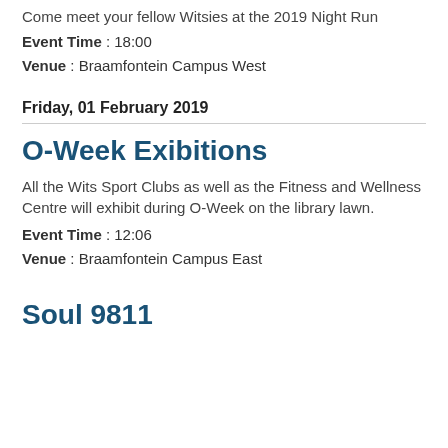Come meet your fellow Witsies at the 2019 Night Run
Event Time : 18:00
Venue : Braamfontein Campus West
Friday, 01 February 2019
O-Week Exibitions
All the Wits Sport Clubs as well as the Fitness and Wellness Centre will exhibit during O-Week on the library lawn.
Event Time : 12:06
Venue : Braamfontein Campus East
Soul 9811